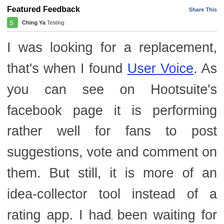Featured Feedback   Share This
Ching Ya Testing
I was looking for a replacement, that's when I found User Voice. As you can see on Hootsuite's facebook page it is performing rather well for fans to post suggestions, vote and comment on them. But still, it is more of an idea-collector tool instead of a rating app. I had been waiting for their beta invite for facebook tab embed since few weeks ago but no replies thus far. Not much to comment